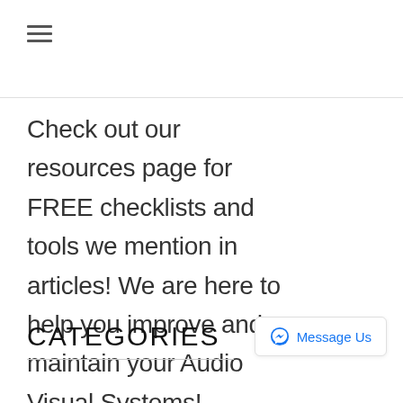[Figure (other): Hamburger menu icon (three horizontal lines)]
Check out our resources page for FREE checklists and tools we mention in articles! We are here to help you improve and maintain your Audio Visual Systems!
CATEGORIES
[Figure (other): Facebook Messenger 'Message Us' button widget in bottom right corner]